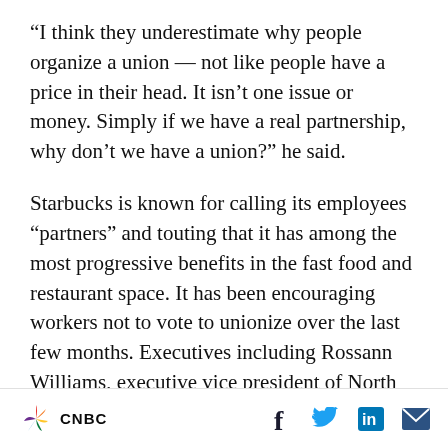“I think they underestimate why people organize a union — not like people have a price in their head. It isn’t one issue or money. Simply if we have a real partnership, why don’t we have a union?” he said.
Starbucks is known for calling its employees “partners” and touting that it has among the most progressive benefits in the fast food and restaurant space. It has been encouraging workers not to vote to unionize over the last few months. Executives including Rossann Williams, executive vice president of North Americas, and
CNBC [logo] [Facebook] [Twitter] [LinkedIn] [Email]